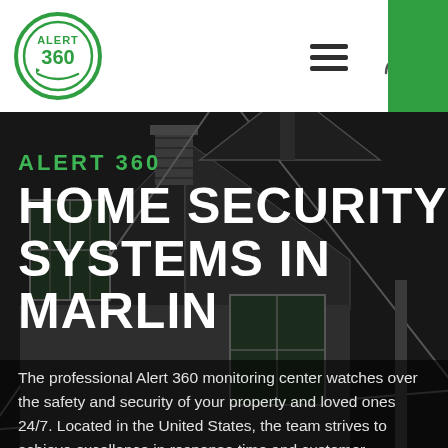Alert 360 — navigation header with logo, hamburger menu, and user icon
[Figure (photo): Dark monochrome photograph of a suburban house rooftop and facade, used as hero background image]
ALERT 360
HOME SECURITY SYSTEMS IN MARLIN
The professional Alert 360 monitoring center watches over the safety and security of your property and loved ones 24/7. Located in the United States, the team strives to achieve excellence in response time and customer